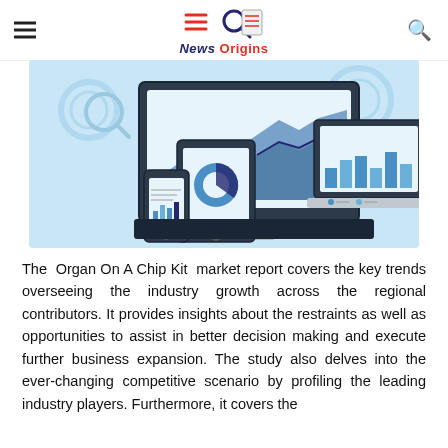News Origins
[Figure (illustration): Illustration showing data analytics/business intelligence dashboards on desktop monitor, tablet, and smartphone devices with charts and graphs on light blue background]
The Organ On A Chip Kit market report covers the key trends overseeing the industry growth across the regional contributors. It provides insights about the restraints as well as opportunities to assist in better decision making and execute further business expansion. The study also delves into the ever-changing competitive scenario by profiling the leading industry players. Furthermore, it covers the